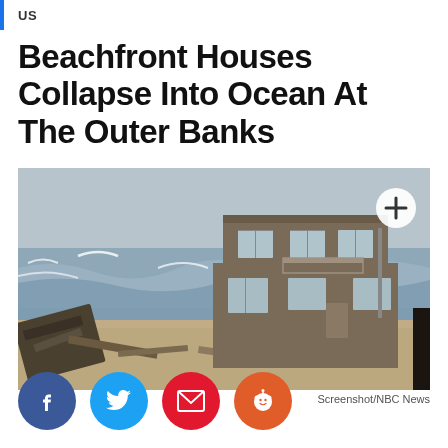US
Beachfront Houses Collapse Into Ocean At The Outer Banks
[Figure (screenshot): A two-story beachfront house collapsing into the ocean at the Outer Banks, surrounded by waves and debris on a grey stormy day. A white circle with a plus sign appears in the upper right of the image.]
Screenshot/NBC News
[Figure (other): Social sharing buttons: Facebook (dark blue), Twitter (light blue), Email (red), Reddit (orange-red)]